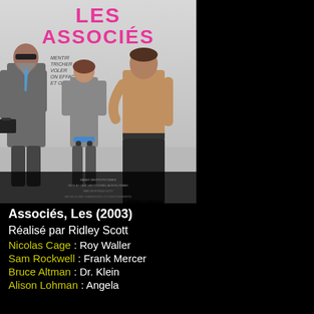[Figure (photo): Movie poster for 'Les Associés' (2003) showing three figures: a man in a suit holding a briefcase on the left, a woman with a skateboard in the center, and a man in casual shirt on the right. Pink title text 'LES ASSOCIÉS' at top. Tagline in French: MENTIR TRICHER VOLER ON EFFACE ET ON RECOMMENCE...]
Associés, Les (2003)
Réalisé par Ridley Scott
Nicolas Cage : Roy Waller
Sam Rockwell : Frank Mercer
Bruce Altman : Dr. Klein
Alison Lohman : Angela